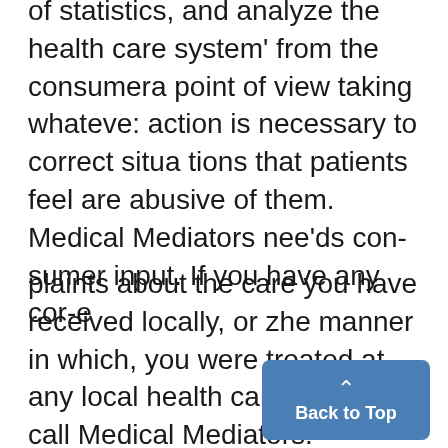of statistics, and analyze the health care system' from the consumera point of view taking whateve: action is necessary to correct situations that patients feel are abusive of them. Medical Mediators nee'ds consumer input. If you have any cor-e
plaints about the care you have received locally, or zhe manner in which, you were treated at any local health care facil:ty, call Medical Mediators.